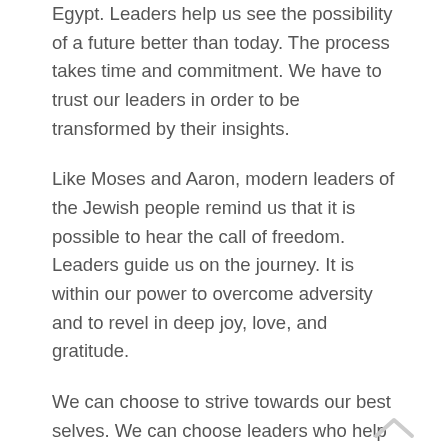Egypt. Leaders help us see the possibility of a future better than today. The process takes time and commitment. We have to trust our leaders in order to be transformed by their insights.
Like Moses and Aaron, modern leaders of the Jewish people remind us that it is possible to hear the call of freedom. Leaders guide us on the journey. It is within our power to overcome adversity and to revel in deep joy, love, and gratitude.
We can choose to strive towards our best selves. We can choose leaders who help us remember our deepest truths, and to break free of our bondage.
Choosing Joy This New Year's Eve